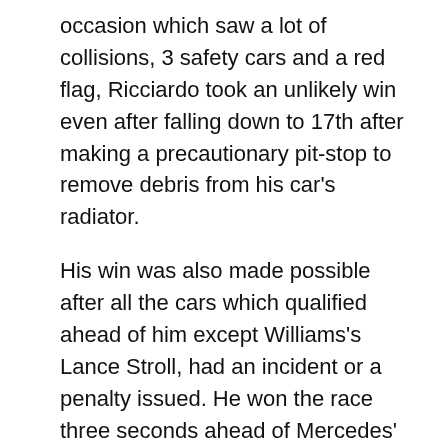occasion which saw a lot of collisions, 3 safety cars and a red flag, Ricciardo took an unlikely win even after falling down to 17th after making a precautionary pit-stop to remove debris from his car's radiator.
His win was also made possible after all the cars which qualified ahead of him except Williams's Lance Stroll, had an incident or a penalty issued. He won the race three seconds ahead of Mercedes' Valtteri Bottas who also made a comeback drive after falling a lap behind the leaders because of an opening lap crash; Verstappen's bad luck continued after he retired from the race after only 12 laps due to an engine failure. From Wikipedia, the free encyclopedia. Formula One racing car.
Keith Collantine. Retrieved 4 February Archived